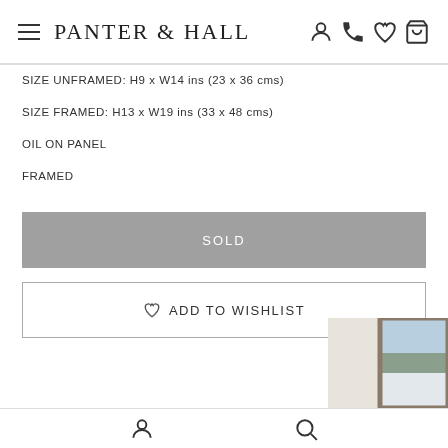PANTER & HALL
SIZE UNFRAMED: H9 x W14 ins (23 x 36 cms)
SIZE FRAMED: H13 x W19 ins (33 x 48 cms)
OIL ON PANEL
FRAMED
SOLD
ADD TO WISHLIST
[Figure (photo): Partial view of a framed painting showing a winter landscape scene, visible in the bottom-right corner of the page]
Bottom navigation bar with person icon and search icon